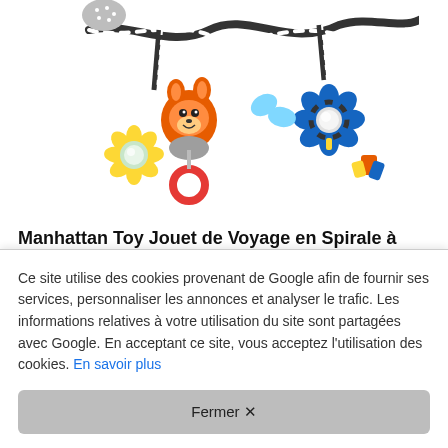[Figure (photo): Colorful baby spiral travel toy with hanging animal characters including an orange squirrel/fox, blue flower with mirror, yellow flower teether, red ring, and other hanging toys on a twisted black and white rope against a white background.]
Manhattan Toy Jouet de Voyage en Spirale à emporter avec Vous
Amazon   24,26 €
Ce site utilise des cookies provenant de Google afin de fournir ses services, personnaliser les annonces et analyser le trafic. Les informations relatives à votre utilisation du site sont partagées avec Google. En acceptant ce site, vous acceptez l'utilisation des cookies. En savoir plus
Fermer ✕